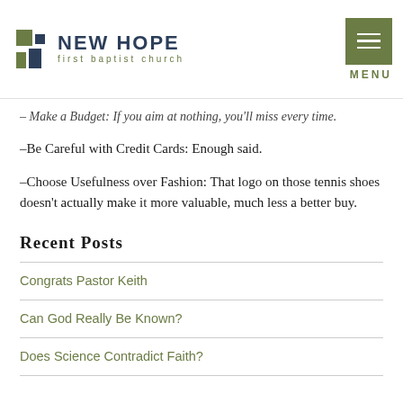NEW HOPE first baptist church
– Make a Budget: If you aim at nothing, you'll miss every time.
–Be Careful with Credit Cards: Enough said.
–Choose Usefulness over Fashion: That logo on those tennis shoes doesn't actually make it more valuable, much less a better buy.
Recent Posts
Congrats Pastor Keith
Can God Really Be Known?
Does Science Contradict Faith?